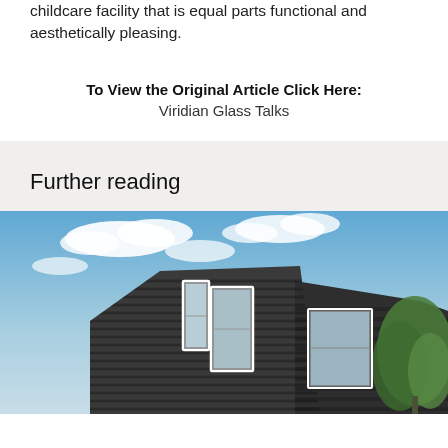childcare facility that is equal parts functional and aesthetically pleasing.
To View the Original Article Click Here:
Viridian Glass Talks
Further reading
[Figure (photo): Low-angle view of a modern building with dark horizontal striped cladding and large windows against a partly cloudy blue sky, with green tree foliage visible on the right.]